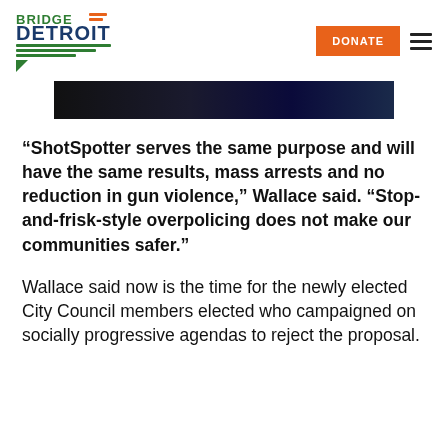Bridge Detroit
[Figure (photo): Dark atmospheric photo strip, likely showing police or nighttime scene with blue lighting]
“ShotSpotter serves the same purpose and will have the same results, mass arrests and no reduction in gun violence,” Wallace said. “Stop-and-frisk-style overpolicing does not make our communities safer.”
Wallace said now is the time for the newly elected City Council members elected who campaigned on socially progressive agendas to reject the proposal.